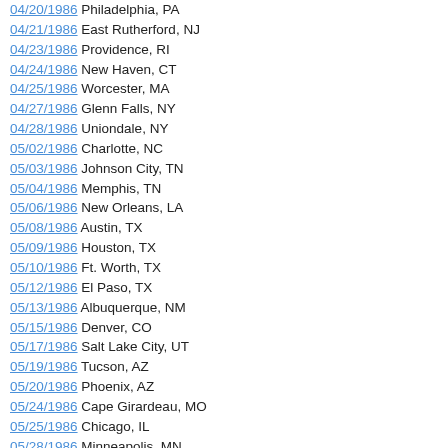04/20/1986 Philadelphia, PA
04/21/1986 East Rutherford, NJ
04/23/1986 Providence, RI
04/24/1986 New Haven, CT
04/25/1986 Worcester, MA
04/27/1986 Glenn Falls, NY
04/28/1986 Uniondale, NY
05/02/1986 Charlotte, NC
05/03/1986 Johnson City, TN
05/04/1986 Memphis, TN
05/06/1986 New Orleans, LA
05/08/1986 Austin, TX
05/09/1986 Houston, TX
05/10/1986 Ft. Worth, TX
05/12/1986 El Paso, TX
05/13/1986 Albuquerque, NM
05/15/1986 Denver, CO
05/17/1986 Salt Lake City, UT
05/19/1986 Tucson, AZ
05/20/1986 Phoenix, AZ
05/24/1986 Cape Girardeau, MO
05/25/1986 Chicago, IL
05/28/1986 Minneapolis, MN
05/30/1986 Davenport, IA
06/10/1986 San Diego, CA
06/13/1986 Long Beach, CA
06/14/1986 Long Beach, CA